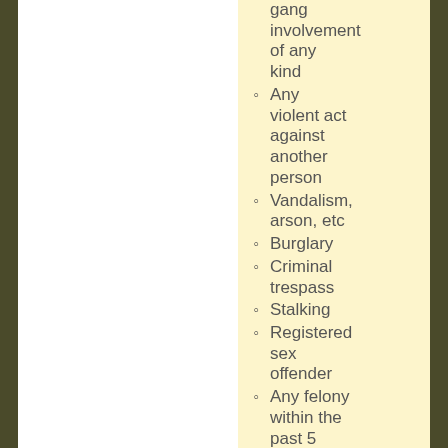gang involvement of any kind
Any violent act against another person
Vandalism, arson, etc
Burglary
Criminal trespass
Stalking
Registered sex offender
Any felony within the past 5 years
Any felony older